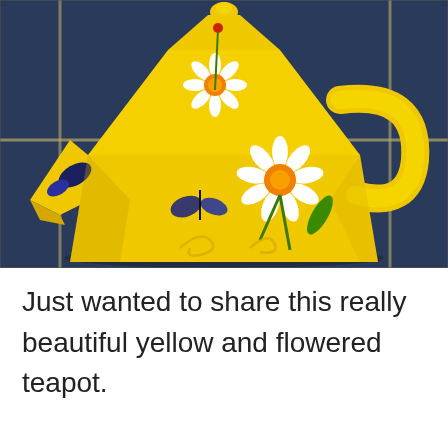[Figure (photo): A yellow ceramic teapot with a pyramid/triangular shape, decorated with white daisy flowers with orange centers, green stems, and dark blue butterfly motifs. The teapot sits on a metal shelf with a dark blue background.]
Just wanted to share this really beautiful yellow and flowered teapot.